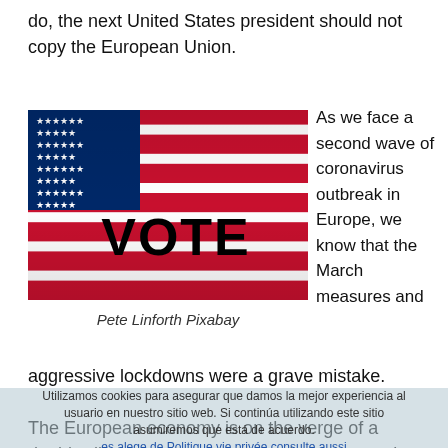do, the next United States president should not copy the European Union.
[Figure (photo): American flag with the word VOTE written in bold black letters across the stripes]
Pete Linforth Pixabay
As we face a second wave of coronavirus outbreak in Europe, we know that the March measures and
aggressive lockdowns were a grave mistake.
Utilizamos cookies para asegurar que damos la mejor experiencia al usuario en nuestro sitio web. Si continúa utilizando este sitio asumiremos que está de acuerdo. es.alege.de Politique vie privée consulte aussi
The European economy is on the verge of a double-dip recession, the unemployment rate is at 8.1% compared to 7.8% in the United States but the European Union still has around 10 million furloughed jobs. Real unemployment, if...